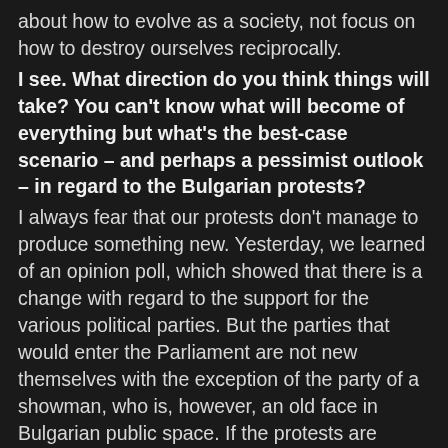about how to evolve as a society, not focus on how to destroy ourselves reciprocally.
I see. What direction do you think things will take? You can't know what will become of everything but what's the best-case scenario – and perhaps a pessimist outlook – in regard to the Bulgarian protests?
I always fear that our protests don't manage to produce something new. Yesterday, we learned of an opinion poll, which showed that there is a change with regard to the support for the various political parties. But the parties that would enter the Parliament are not new themselves with the exception of the party of a showman, who is, however, an old face in Bulgarian public space. If the protests are against all who have been stained in the